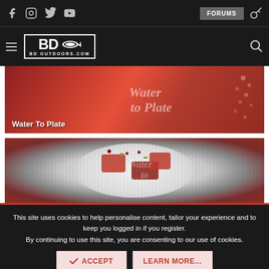BD Outdoors - Social icons, FORUMS, navigation bar with hamburger menu, BD Outdoors logo, and search icon
[Figure (photo): Water To Plate branded image with red/orange food background and stylized script logo overlay]
Water To Plate
[Figure (photo): Close-up of a food dish (tuna carpaccio) with pomegranate seeds, pistachios, on a white plate with Water to Plate watermark logo]
This site uses cookies to help personalise content, tailor your experience and to keep you logged in if you register.
By continuing to use this site, you are consenting to our use of cookies.
ACCEPT
LEARN MORE...